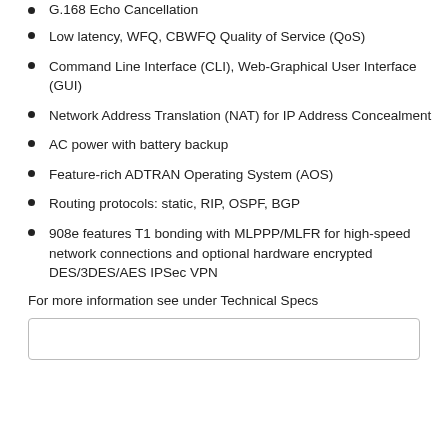G.168 Echo Cancellation
Low latency, WFQ, CBWFQ Quality of Service (QoS)
Command Line Interface (CLI), Web-Graphical User Interface (GUI)
Network Address Translation (NAT) for IP Address Concealment
AC power with battery backup
Feature-rich ADTRAN Operating System (AOS)
Routing protocols: static, RIP, OSPF, BGP
908e features T1 bonding with MLPPP/MLFR for high-speed network connections and optional hardware encrypted DES/3DES/AES IPSec VPN
For more information see under Technical Specs